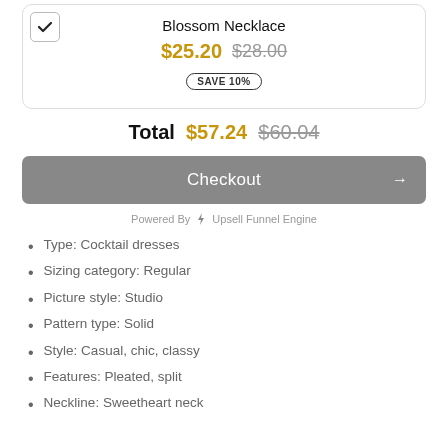Blossom Necklace
$25.20  $28.00
SAVE 10%
Total $57.24  $60.04
Checkout →
Powered By ⚡ Upsell Funnel Engine
Type: Cocktail dresses
Sizing category: Regular
Picture style: Studio
Pattern type: Solid
Style: Casual, chic, classy
Features: Pleated, split
Neckline: Sweetheart neck